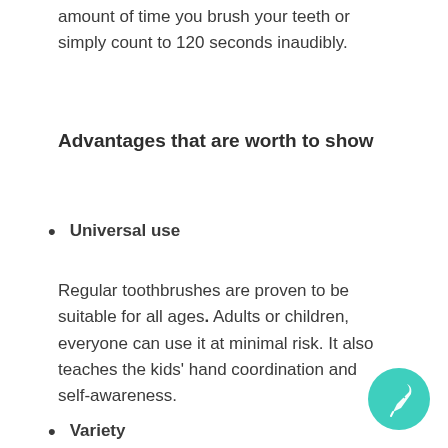amount of time you brush your teeth or simply count to 120 seconds inaudibly.
Advantages that are worth to show
Universal use
Regular toothbrushes are proven to be suitable for all ages. Adults or children, everyone can use it at minimal risk. It also teaches the kids' hand coordination and self-awareness.
Variety